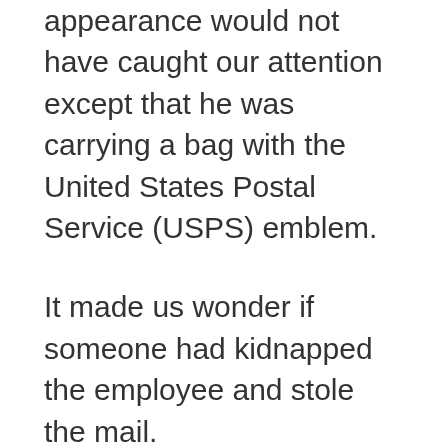appearance would not have caught our attention except that he was carrying a bag with the United States Postal Service (USPS) emblem.
It made us wonder if someone had kidnapped the employee and stole the mail.
Lately I have noticed several letter carriers who could pass as hobos